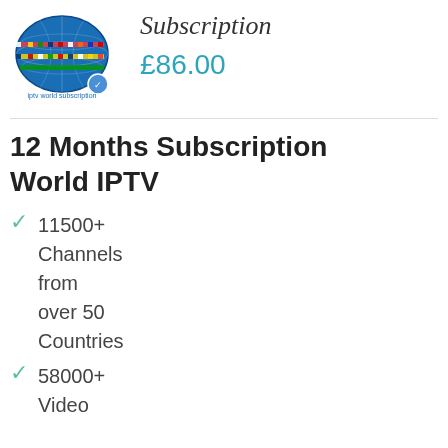[Figure (logo): Globe with international flags logo for IPTV World Subscription, with a small circular icon]
Subscription
£86.00
12 Months Subscription World IPTV
11500+ Channels from over 50 Countries
58000+ Video on Demand in many